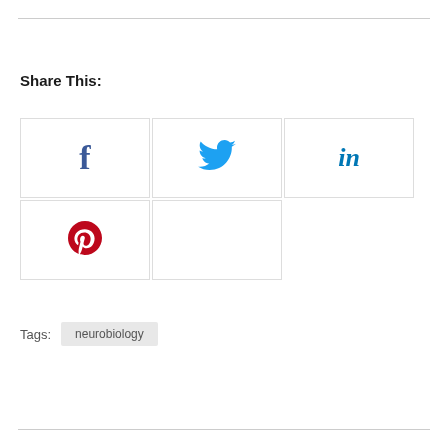Share This:
[Figure (infographic): Social media share buttons grid: Facebook (f), Twitter (bird icon), LinkedIn (in), Pinterest (p), and one empty cell arranged in a 3x2 grid with light borders]
Tags: neurobiology